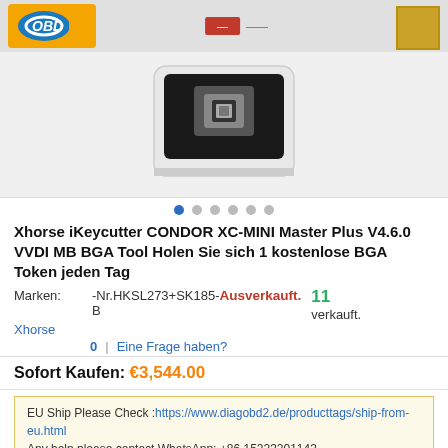OBD logo header with navigation
[Figure (photo): Product photo of Xhorse iKeycutter CONDOR XC-MINI device, white body with black key cutting mechanism]
Xhorse iKeycutter CONDOR XC-MINI Master Plus V4.6.0 VVDI MB BGA Tool Holen Sie sich 1 kostenlose BGA Token jeden Tag
Marken: -Nr.HKSL273+SK185- Ausverkauft. 11 verkauft. Xhorse B
0 | Eine Frage haben?
Sofort Kaufen: €3,544.00
EU Ship Please Check :https://www.diagobd2.de/producttags/ship-from-eu.html Any help,please contact WhatsApp: +86 15223201143
Sprache: Bitte auswählen
Gewicht: